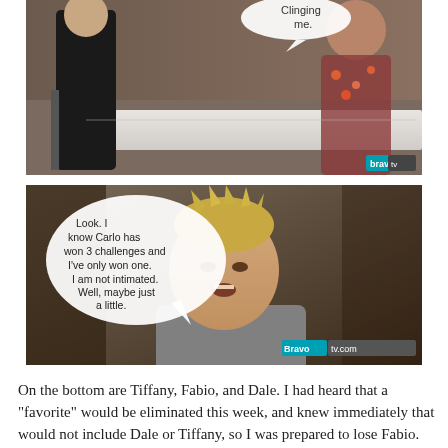[Figure (photo): Top photo: TV show screenshot with speech bubble containing partial text 'me.' Bravo logo visible bottom right. Two people visible, one standing in dark clothes, one seated wearing patterned top.]
[Figure (photo): Bottom photo: Man with spiky blond hair with speech bubble reading 'Look. I know Carlo has won 3 challenges and I've only won one. I am not intimated. Well, maybe just a little.' Bravotv.com logo visible bottom right.]
On the bottom are Tiffany, Fabio, and Dale. I had heard that a "favorite" would be eliminated this week, and knew immediately that would not include Dale or Tiffany, so I was prepared to lose Fabio. His booger just wasn't the moist, juicy booger they were looking for, and his cheese sauce was gross. Even the thought of boogers and cheese sauce is